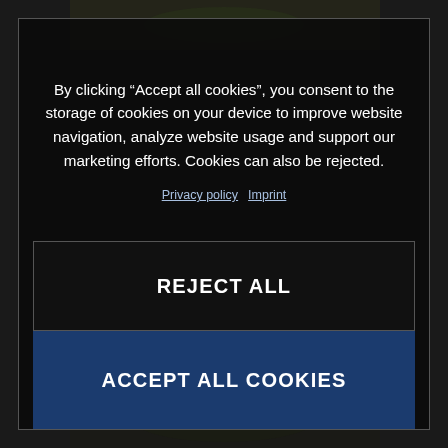[Figure (screenshot): Dark background photo partially visible behind a cookie consent modal dialog]
By clicking “Accept all cookies”, you consent to the storage of cookies on your device to improve website navigation, analyze website usage and support our marketing efforts. Cookies can also be rejected.
Privacy policy  Imprint
REJECT ALL
ACCEPT ALL COOKIES